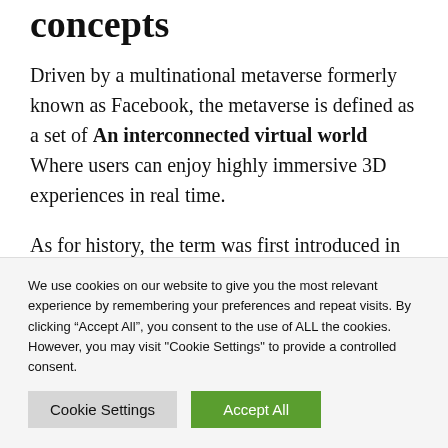concepts
Driven by a multinational metaverse formerly known as Facebook, the metaverse is defined as a set of An interconnected virtual world Where users can enjoy highly immersive 3D experiences in real time.
As for history, the term was first introduced in 1992 by Neal Stephenson in his bestselling book
We use cookies on our website to give you the most relevant experience by remembering your preferences and repeat visits. By clicking “Accept All”, you consent to the use of ALL the cookies. However, you may visit "Cookie Settings" to provide a controlled consent.